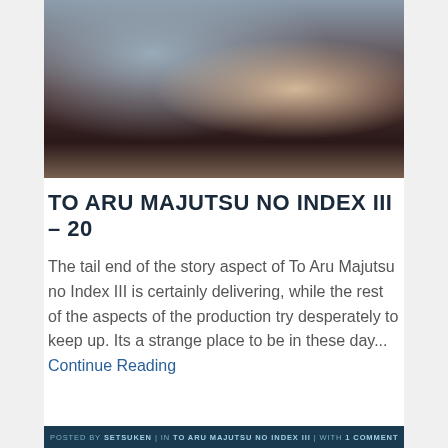[Figure (photo): Close-up image of an anime character with dark reddish-brown hair, against a grey/cloudy background. The character appears to have a blindfold or eye cover visible.]
TO ARU MAJUTSU NO INDEX III – 20
The tail end of the story aspect of To Aru Majutsu no Index III is certainly delivering, while the rest of the aspects of the production try desperately to keep up. Its a strange place to be in these day... Continue Reading
POSTED BY SETSUKEN | IN TO ARU MAJUTSU NO INDEX III | WITH 1 COMMENT